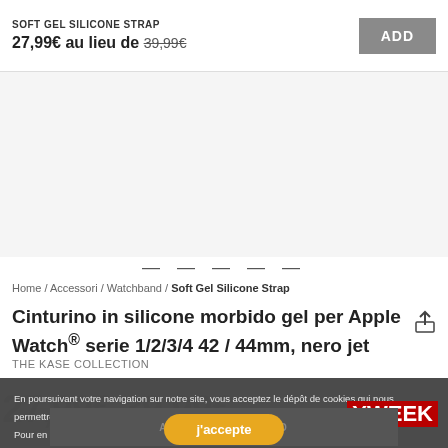SOFT GEL SILICONE STRAP
27,99€ au lieu de 39,99€
ADD
[Figure (other): Product image area (placeholder/blank white space)]
— — — — —
Home / Accessori / Watchband / Soft Gel Silicone Strap
Cinturino in silicone morbido gel per Apple Watch® serie 1/2/3/4 42 / 44mm, nero jet
THE KASE COLLECTION
En poursuivant votre navigation sur notre site, vous acceptez le dépôt de cookies qui nous permettront notamment d'analyser le trafic et la performance du site et d'effectuer des statistiques. Pour en savoir plus sur notre politique de cookies et paramétrer vos choix, cliquez ici.
j'accepte